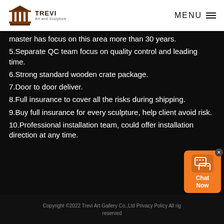TREVI Art and Sculpture — MENU
master has focus on this area more than 30 years.
5.Separate QC team focus on quality control and leading time.
6.Strong standard wooden crate package.
7.Door to door deliver.
8.Full insurance to cover all the risks during shipping.
9.Buy full insurance for every sculpture, help client avoid risk.
10.Professional installation team, could offer installation direction at any time.
Copyright ©2022 Trevi Art Gallery Co.,Ltd Privacy Policy All rights reserved